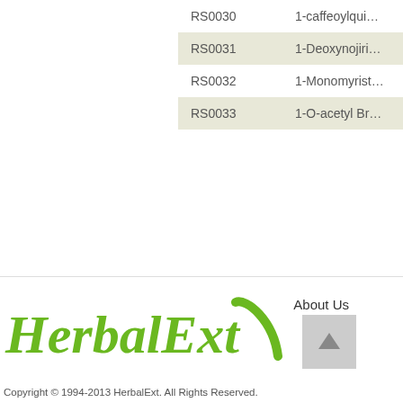| ID | Name |
| --- | --- |
| RS0030 | 1-caffeoylqui… |
| RS0031 | 1-Deoxynojiri… |
| RS0032 | 1-Monomyrist… |
| RS0033 | 1-O-acetyl Br… |
«First Page  <Prev  1  2  …  Page Break: 1  11  21
[Figure (logo): HerbalExt logo in italic bold green font with a green leaf/slash swoosh]
Copyright © 1994-2013 HerbalExt. All Rights Reserved.